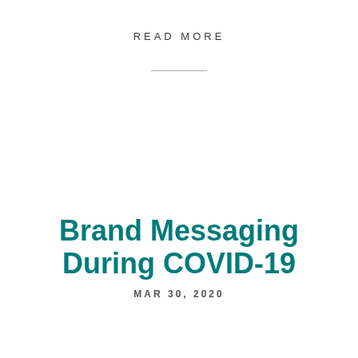READ MORE
Brand Messaging During COVID-19
MAR 30, 2020